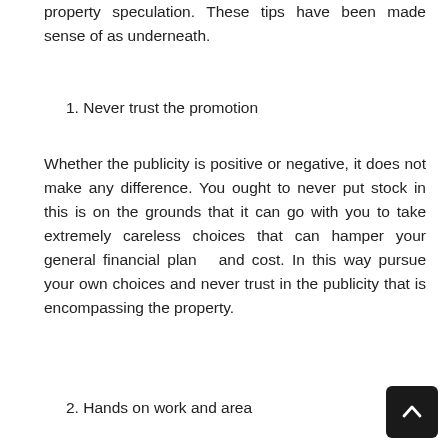property speculation. These tips have been made sense of as underneath.
1. Never trust the promotion
Whether the publicity is positive or negative, it does not make any difference. You ought to never put stock in this is on the grounds that it can go with you to take extremely careless choices that can hamper your general financial plan  and cost. In this way pursue your own choices and never trust in the publicity that is encompassing the property.
2. Hands on work and area